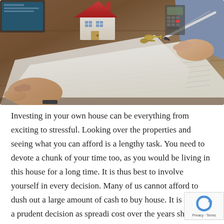[Figure (photo): A person signing a document at a desk with a small model house, keys, and a calculator in the background — a real estate or mortgage signing scene]
Investing in your own house can be everything from exciting to stressful. Looking over the properties and seeing what you can afford is a lengthy task. You need to devote a chunk of your time too, as you would be living in this house for a long time. It is thus best to involve yourself in every decision. Many of us cannot afford to dush out a large amount of cash to buy house. It is also not a prudent decision as spreadi cost over the years should be your priority. You sh...